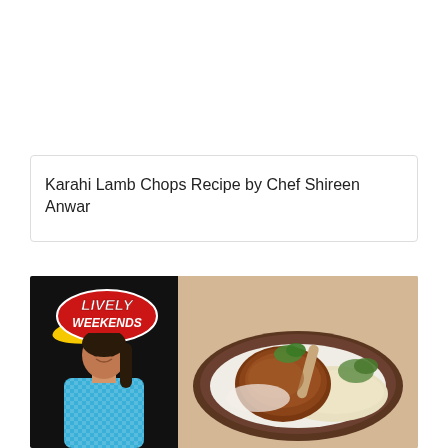Karahi Lamb Chops Recipe by Chef Shireen Anwar
[Figure (photo): Left panel: black background with 'Lively Weekends' logo badge in red/yellow and a female chef (Chef Shireen Anwar) smiling in a blue checkered top. Right panel: food photo of lamb chop on a dark ceramic plate with mashed potatoes and herbs.]